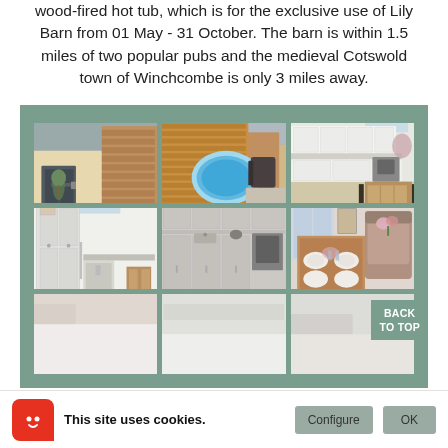wood-fired hot tub, which is for the exclusive use of Lily Barn from 01 May - 31 October. The barn is within 1.5 miles of two popular pubs and the medieval Cotswold town of Winchcombe is only 3 miles away.
[Figure (photo): A 3x3 grid of property photos showing: barn exterior with wooden cladding and glass doors, outdoor hot tub surrounded by wooden fence, modern white kitchen/dining area, utility room with sink, fitted kitchen with grey cabinets and oven, living/dining room with table set for dining, and three partial photos visible at the bottom row.]
BACK TO TOP
This site uses cookies.